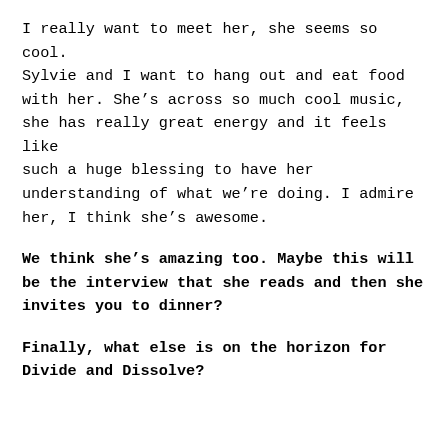I really want to meet her, she seems so cool. Sylvie and I want to hang out and eat food with her. She's across so much cool music, she has really great energy and it feels like such a huge blessing to have her understanding of what we're doing. I admire her, I think she's awesome.
We think she's amazing too. Maybe this will be the interview that she reads and then she invites you to dinner?
Finally, what else is on the horizon for Divide and Dissolve?